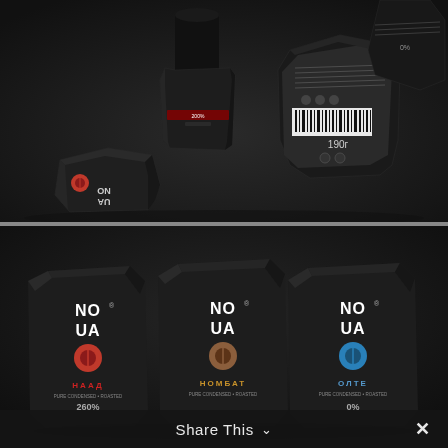[Figure (photo): Product photo of NOVA coffee brand packaging — dark faceted geometric containers/jars in matte black, displayed on a dark background. Multiple containers shown from various angles including side with barcode and weight (190г). The brand name 'NOVA' appears in Cyrillic on the front.]
[Figure (photo): Product photo showing three NOVA coffee pouches/bags side by side on a dark background. Left bag has a red coffee bean icon and Cyrillic text 'НААД' with '260%'. Center bag has a brown coffee bean icon and Cyrillic text 'НОМБАТ'. Right bag has a blue coffee bean icon and Cyrillic 'ОЛТЕ' with '0%'. All bags show the 'NO UA' brand logo in white.]
Share This ∨  ✕